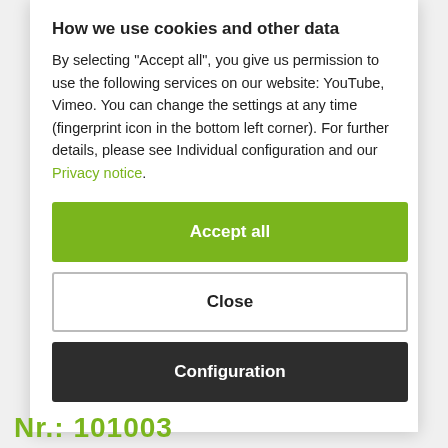How we use cookies and other data
By selecting "Accept all", you give us permission to use the following services on our website: YouTube, Vimeo. You can change the settings at any time (fingerprint icon in the bottom left corner). For further details, please see Individual configuration and our Privacy notice.
Accept all
Close
Configuration
Nr.: 101003